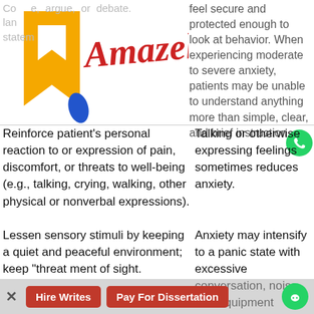[Figure (logo): Amacel990 logo with golden arrow shape and blue element, red cursive text 'Amazel990']
feel secure and protected enough to look at behavior. When experiencing moderate to severe anxiety, patients may be unable to understand anything more than simple, clear, and brief instruction
Reinforce patient's personal reaction to or expression of pain, discomfort, or threats to well-being (e.g., talking, crying, walking, other physical or nonverbal expressions).
Talking or otherwise expressing feelings sometimes reduces anxiety.
Lessen sensory stimuli by keeping a quiet and peaceful environment; keep "threat" ment of sight.
Anxiety may intensify to a panic state with excessive conversation, noise, and equipment around the patient. Nursing anxiety may become frightening to